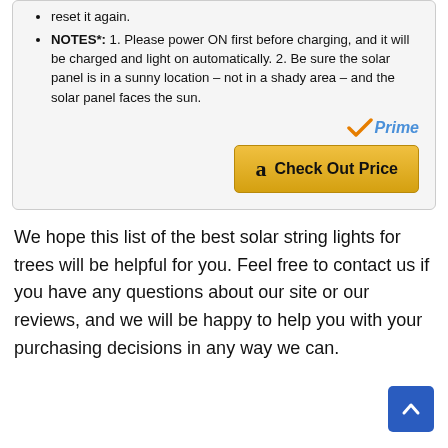reset it again.
NOTES*: 1. Please power ON first before charging, and it will be charged and light on automatically. 2. Be sure the solar panel is in a sunny location – not in a shady area – and the solar panel faces the sun.
[Figure (logo): Amazon Prime logo with checkmark and 'Prime' text in blue italic]
[Figure (other): Amazon 'Check Out Price' button with Amazon logo]
We hope this list of the best solar string lights for trees will be helpful for you. Feel free to contact us if you have any questions about our site or our reviews, and we will be happy to help you with your purchasing decisions in any way we can.